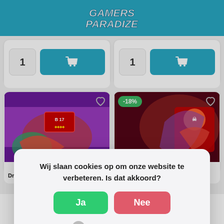[Figure (screenshot): Gamers Paradise website header with teal/cyan background]
[Figure (screenshot): Two product cards with quantity selector (1) and teal add-to-cart buttons]
[Figure (screenshot): Two Dragon Ball SCG product cards with card game art]
Wij slaan cookies op om onze website te verbeteren. Is dat akkoord?
Ja
Nee
Meer over cookies »
Dragon Ball SCG Unison
Dragon Ball SCG Unison